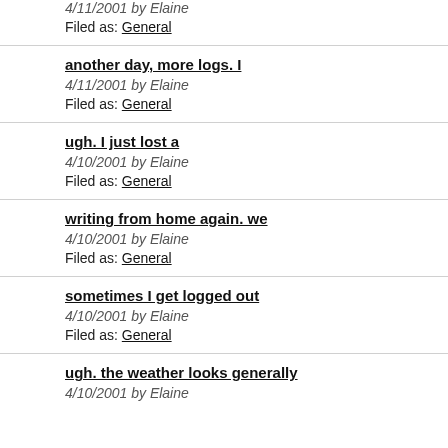4/11/2001 by Elaine
Filed as: General
another day, more logs. I
4/11/2001 by Elaine
Filed as: General
ugh. I just lost a
4/10/2001 by Elaine
Filed as: General
writing from home again. we
4/10/2001 by Elaine
Filed as: General
sometimes I get logged out
4/10/2001 by Elaine
Filed as: General
ugh. the weather looks generally
4/10/2001 by Elaine